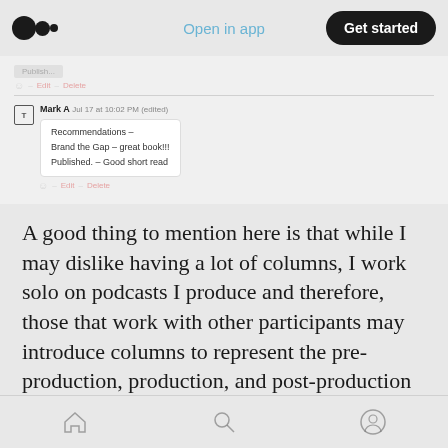Medium app header — Open in app | Get started
[Figure (screenshot): Medium comment thread screenshot showing a comment by Mark A dated Jul 17 at 10:02 PM (edited) with text: Recommendations - Brand the Gap - great book!!! Published. - Good short read. Below the comment are Edit and Delete links.]
A good thing to mention here is that while I may dislike having a lot of columns, I work solo on podcasts I produce and therefore, those that work with other participants may introduce columns to represent the pre-production, production, and post-production phases of their show. A benefit is that you can add automation
Bottom navigation bar with home, search, and profile icons